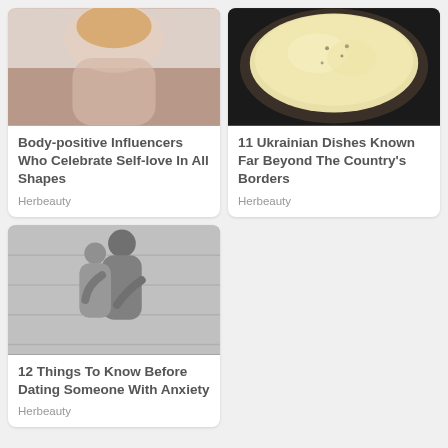[Figure (photo): A plus-size blonde woman in a pink sparkly dress posing]
Body-positive Influencers Who Celebrate Self-love In All Shapes
Herbeauty
[Figure (photo): A pot of Ukrainian dish, white creamy food in a dark pan]
11 Ukrainian Dishes Known Far Beyond The Country's Borders
Herbeauty
[Figure (photo): A couple embracing and kissing against a white wall]
12 Things To Know Before Dating Someone With Anxiety
Herbeauty